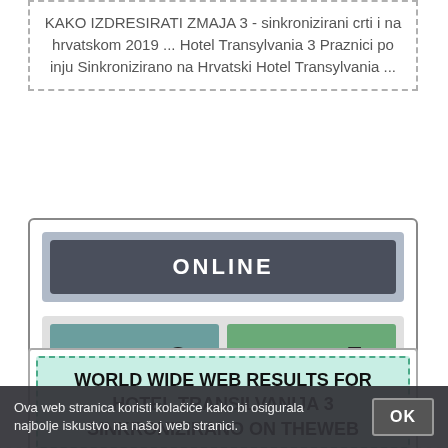KAKO IZDRESIRATI ZMAJA 3 - sinkronizirani crti i na hrvatskom 2019 ... Hotel Transylvania 3 Praznici po inju Sinkronizirano na Hrvatski Hotel Transylvania ...
[Figure (screenshot): Online button UI card with dark 'ONLINE' header bar, a teal 'PREGLED' button with eye icon, and a green 'POGLED' button with external link icon]
WORLD WIDE WEB RESULTS FOR HOTEL TRANSILVANIJA 3 SINKRONIZIRANO ON THEWEB
Ova web stranica koristi kolačiće kako bi osigurala najbolje iskustvo na našoj web stranici.
OK